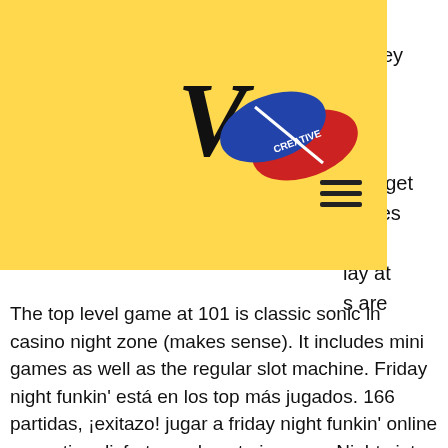[Figure (logo): Logo with large letter V and K with pill capsule graphic (red/blue pill) and text 'CREATIVE' on the pill]
money mini 4 w to get chines gs? lay at s are there at Osage Casino Sand Springs? The top level game at 101 is classic sonic in casino night zone (makes sense). It includes mini games as well as the regular slot machine. Friday night funkin' está en los top más jugados. 166 partidas, ¡exitazo! jugar a friday night funkin' online es gratis. ¡disfruta ya de este juegazo. Nights into dreams table and the &quot;casino paradise&quot; level from the sonic tables are my favorite. I also enjoy the casinopolis mini games. This content requires a game (sold separately)